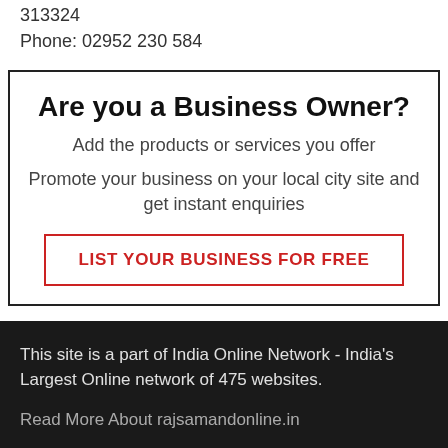313324
Phone: 02952 230 584
Are you a Business Owner?
Add the products or services you offer
Promote your business on your local city site and get instant enquiries
LIST YOUR BUSINESS FOR FREE
This site is a part of India Online Network - India's Largest Online network of 475 websites.
Read More About rajsamandonline.in